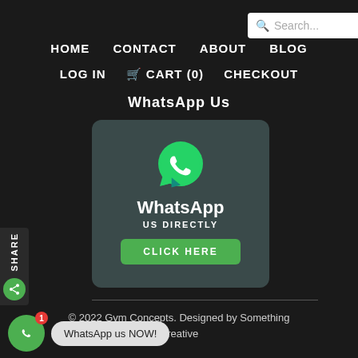[Figure (screenshot): Search bar with magnifying glass icon and placeholder text 'Search...']
HOME  CONTACT  ABOUT  BLOG
LOG IN  CART (0)  CHECKOUT
WhatsApp Us
[Figure (infographic): WhatsApp card with green WhatsApp logo, text 'WhatsApp', 'US DIRECTLY', and a green 'CLICK HERE' button on a dark teal card background]
SHARE
© 2022 Gym Concepts. Designed by Something Creative
[Figure (infographic): Floating WhatsApp button (green circle with phone icon) with red badge showing '1', and tooltip label 'WhatsApp us NOW!']